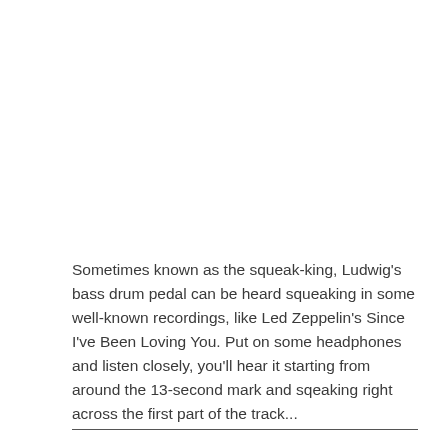Sometimes known as the squeak-king, Ludwig's bass drum pedal can be heard squeaking in some well-known recordings, like Led Zeppelin's Since I've Been Loving You. Put on some headphones and listen closely, you'll hear it starting from around the 13-second mark and sqeaking right across the first part of the track...